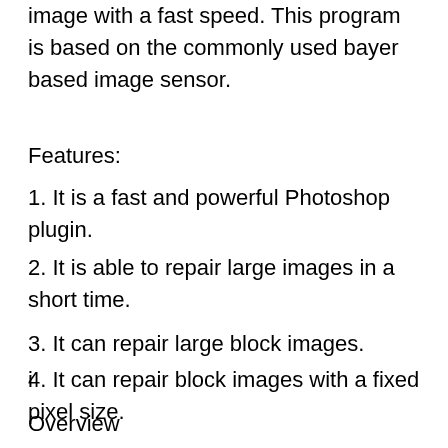image with a fast speed. This program is based on the commonly used bayer based image sensor.
Features:
1. It is a fast and powerful Photoshop plugin.
2. It is able to repair large images in a short time.
3. It can repair large block images.
4. It can repair block images with a fixed pixel size.
i
Overview